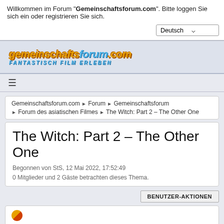Willkommen im Forum "Gemeinschaftsforum.com". Bitte loggen Sie sich ein oder registrieren Sie sich.
Deutsch ▾
[Figure (logo): gemeinschaftsforum.com logo with yellow italic bold text and blue subtitle 'FANTASTISCH FILM ERLEBEN']
☰ (hamburger menu icon)
Gemeinschaftsforum.com ► Forum ► Gemeinschaftsforum ► Forum des asiatischen Filmes ► The Witch: Part 2 – The Other One
The Witch: Part 2 – The Other One
Begonnen von StS, 12 Mai 2022, 17:52:49
0 Mitglieder und 2 Gäste betrachten dieses Thema.
BENUTZER-AKTIONEN